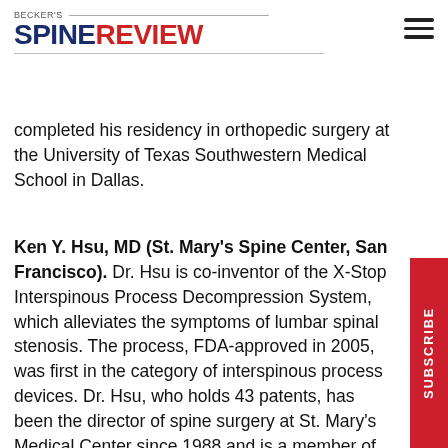BECKER'S SPINE REVIEW
completed his residency in orthopedic surgery at the University of Texas Southwestern Medical School in Dallas.
Ken Y. Hsu, MD (St. Mary's Spine Center, San Francisco). Dr. Hsu is co-inventor of the X-Stop Interspinous Process Decompression System, which alleviates the symptoms of lumbar spinal stenosis. The process, FDA-approved in 2005, was first in the category of interspinous process devices. Dr. Hsu, who holds 43 patents, has been the director of spine surgery at St. Mary's Medical Center since 1988 and is a member of the clinical faculty at Stanford University. He received his medical degree from State University of New York, completed